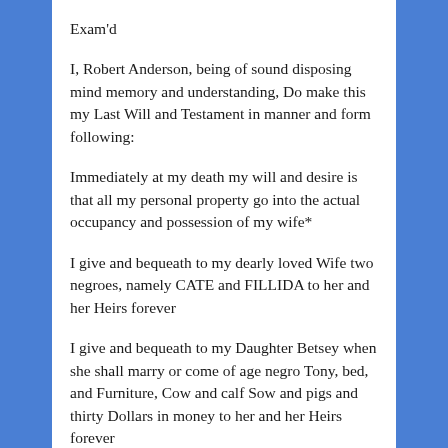Exam'd
I, Robert Anderson, being of sound disposing mind memory and understanding, Do make this my Last Will and Testament in manner and form following:
Immediately at my death my will and desire is that all my personal property go into the actual occupancy and possession of my wife*
I give and bequeath to my dearly loved Wife two negroes, namely CATE and FILLIDA to her and her Heirs forever
I give and bequeath to my Daughter Betsey when she shall marry or come of age negro Tony, bed, and Furniture, Cow and calf Sow and pigs and thirty Dollars in money to her and her Heirs forever
I give and bequeath to my daughter Sally when she shall come of age or marry, negro named ROSE, Bed and